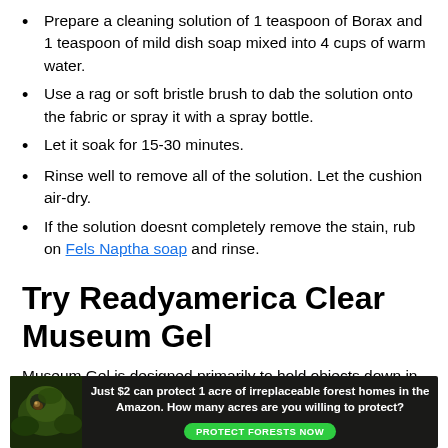Prepare a cleaning solution of 1 teaspoon of Borax and 1 teaspoon of mild dish soap mixed into 4 cups of warm water.
Use a rag or soft bristle brush to dab the solution onto the fabric or spray it with a spray bottle.
Let it soak for 15-30 minutes.
Rinse well to remove all of the solution. Let the cushion air-dry.
If the solution doesnt completely remove the stain, rub on Fels Naptha soap and rinse.
Try Readyamerica Clear Museum Gel
Museum Gel is designed primarily to hold objects down in the case of an earthquake, specifically glass and crystal
[Figure (infographic): Advertisement banner: dark background with image of animal in forest on left. Text reads: 'Just $2 can protect 1 acre of irreplaceable forest homes in the Amazon. How many acres are you willing to protect?' with a green 'PROTECT FORESTS NOW' button.]